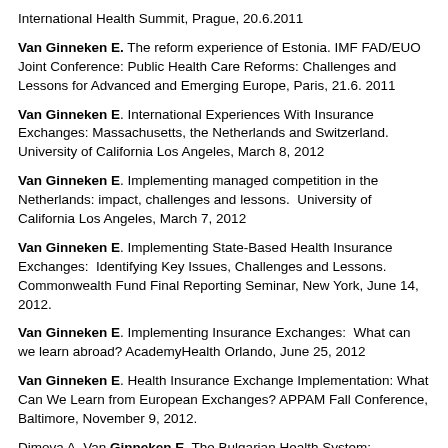International Health Summit, Prague, 20.6.2011
Van Ginneken E. The reform experience of Estonia. IMF FAD/EUO Joint Conference: Public Health Care Reforms: Challenges and Lessons for Advanced and Emerging Europe, Paris, 21.6. 2011
Van Ginneken E. International Experiences With Insurance Exchanges: Massachusetts, the Netherlands and Switzerland. University of California Los Angeles, March 8, 2012
Van Ginneken E. Implementing managed competition in the Netherlands: impact, challenges and lessons. University of California Los Angeles, March 7, 2012
Van Ginneken E. Implementing State-Based Health Insurance Exchanges: Identifying Key Issues, Challenges and Lessons. Commonwealth Fund Final Reporting Seminar, New York, June 14, 2012.
Van Ginneken E. Implementing Insurance Exchanges: What can we learn abroad? AcademyHealth Orlando, June 25, 2012
Van Ginneken E. Health Insurance Exchange Implementation: What Can We Learn from European Exchanges? APPAM Fall Conference, Baltimore, November 9, 2012.
Dimova A, Van Ginneken E. The Bulgarian Health System: Characteristics and Challenges. Country evidence briefing session on the Bulgarian health system for D.C. AHCS...